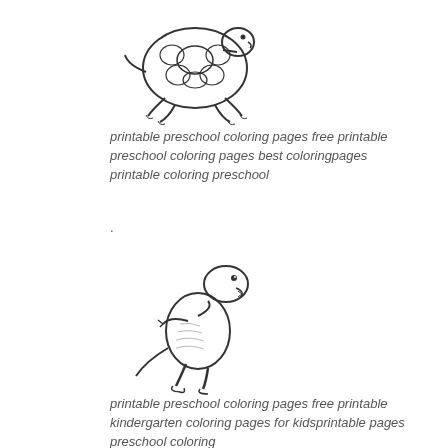[Figure (illustration): Line drawing of a cartoon turtle with patterned shell, seen from the side]
printable preschool coloring pages free printable preschool coloring pages best coloringpages printable coloring preschool
.
[Figure (illustration): Line drawing of a cartoon T-Rex dinosaur standing upright with small arms]
printable preschool coloring pages free printable kindergarten coloring pages for kidsprintable pages preschool coloring
.
[Figure (illustration): Line drawing of a cartoon teddy bear sitting on a turtle, with a sun and tree in the background]